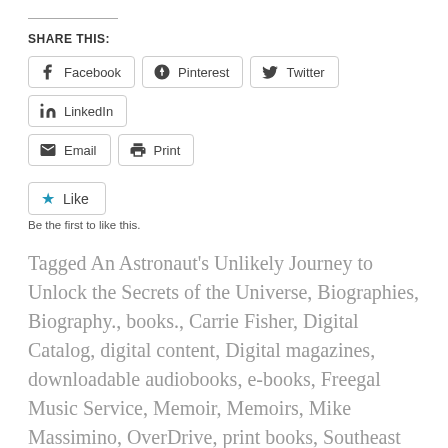SHARE THIS:
[Figure (infographic): Social share buttons: Facebook, Pinterest, Twitter, LinkedIn, Email, Print]
[Figure (infographic): Like button with blue star icon and text 'Be the first to like this.']
Tagged An Astronaut's Unlikely Journey to Unlock the Secrets of the Universe, Biographies, Biography., books., Carrie Fisher, Digital Catalog, digital content, Digital magazines, downloadable audiobooks, e-books, Freegal Music Service, Memoir, Memoirs, Mike Massimino, OverDrive, print books, Southeast Steuben County Library, Spaceman, Star Wars, StarCat, streaming